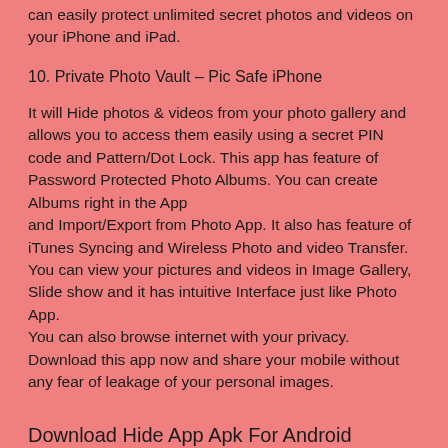can easily protect unlimited secret photos and videos on your iPhone and iPad.
10. Private Photo Vault – Pic Safe iPhone
It will Hide photos & videos from your photo gallery and allows you to access them easily using a secret PIN code and Pattern/Dot Lock. This app has feature of Password Protected Photo Albums. You can create Albums right in the App and Import/Export from Photo App. It also has feature of iTunes Syncing and Wireless Photo and video Transfer. You can view your pictures and videos in Image Gallery, Slide show and it has intuitive Interface just like Photo App.
You can also browse internet with your privacy. Download this app now and share your mobile without any fear of leakage of your personal images.
Download Hide App Apk For Android Windows 7